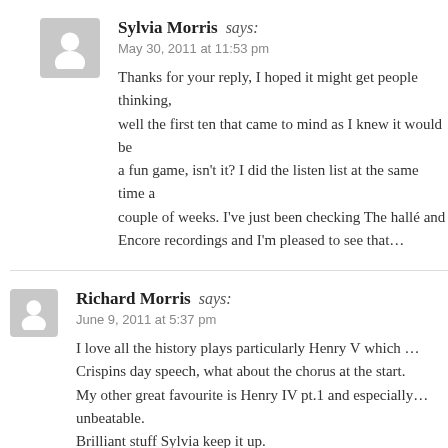Sylvia Morris says:
May 30, 2011 at 11:53 pm

Thanks for your reply, I hoped it might get pe... well the first ten that came to mind as I knew i... a fun game, isn't it? I did the listen list at the s... couple of weeks. I've just been checking The h... Encore recordings and I'm pleased to see that...
Richard Morris says:
June 9, 2011 at 5:37 pm

I love all the history plays particularly Henry V which ... Crispins day speech, what about the chorus at the start. My other great favourite is Henry IV pt.1 and especiall... unbeatable.
Brilliant stuff Sylvia keep it up.